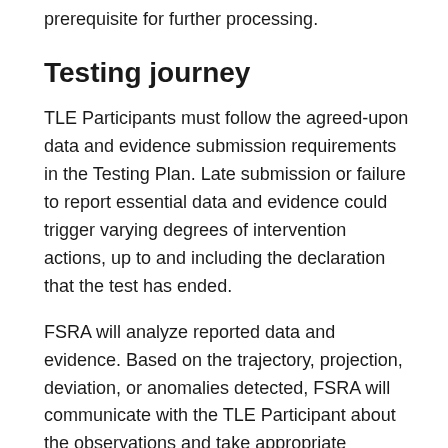prerequisite for further processing.
Testing journey
TLE Participants must follow the agreed-upon data and evidence submission requirements in the Testing Plan. Late submission or failure to report essential data and evidence could trigger varying degrees of intervention actions, up to and including the declaration that the test has ended.
FSRA will analyze reported data and evidence. Based on the trajectory, projection, deviation, or anomalies detected, FSRA will communicate with the TLE Participant about the observations and take appropriate actions.
A clue to in along the conceptions and to...